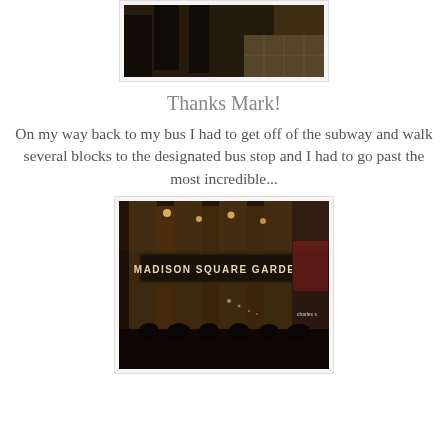[Figure (photo): Dark indoor photo showing people's legs and feet walking in what appears to be a subway station or corridor with tiled floor.]
Thanks Mark!
On my way back to my bus I had to get off of the subway and walk several blocks to the designated bus stop and I had to go past the most incredible...
[Figure (photo): Night photo of Madison Square Garden exterior showing the illuminated 'MADISON SQUARE GARDEN' sign above the entrance, with columns and street scene visible.]